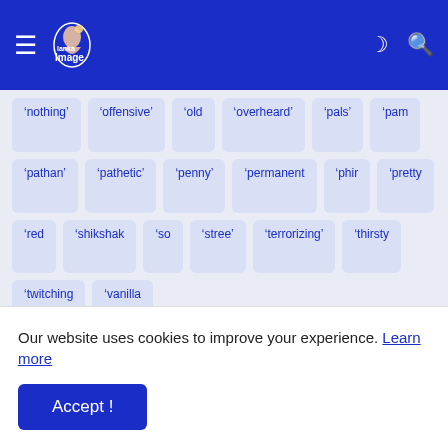Lanka Image
&#8216;nothing&#8217;
&#8216;offensive&#8217;
&#8216;old
&#8216;overheard&#8217;
&#8216;pals&#8217;
&#8216;pam
&#8216;pathan&#8217;
&#8216;pathetic&#8217;
&#8216;penny&#8217;
&#8216;permanent
&#8216;phir
&#8216;pretty
&#8216;red
&#8216;shikshak
&#8216;so
&#8216;stree&#8217;
&#8216;terrorizing&#8217;
&#8216;thirsty
&#8216;twitching
&#8216;vanilla
Our website uses cookies to improve your experience. Learn more